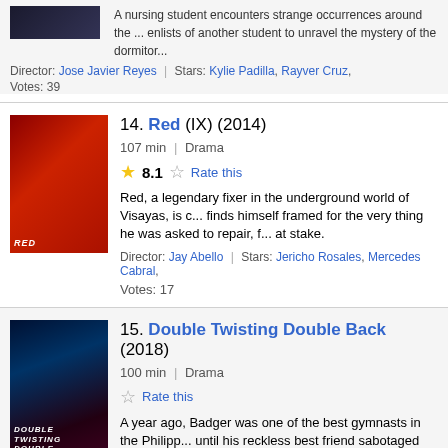A nursing student encounters strange occurrences around the ... enlists of another student to unravel the mystery of the dormitor...
Director: Jose Javier Reyes | Stars: Kylie Padilla, Rayver Cruz, ...
Votes: 39
[Figure (photo): Movie poster for Red (IX) 2014]
14. Red (IX) (2014)
107 min | Drama
8.1  Rate this
Red, a legendary fixer in the underground world of Visayas, is c... finds himself framed for the very thing he was asked to repair, f... at stake.
Director: Jay Abello | Stars: Jericho Rosales, Mercedes Cabral, ...
Votes: 17
[Figure (photo): Movie poster for Double Twisting Double Back 2018]
15. Double Twisting Double Back (2018)
100 min | Drama
Rate this
A year ago, Badger was one of the best gymnasts in the Philipp... until his reckless best friend sabotaged his athletic career. Now,... summary »
Director: Joseph Abello | Stars: Tony Labrusca, Mon Confiado, ...